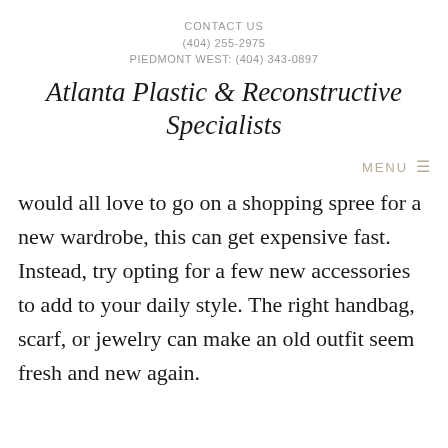CONTACT US
(404) 255-2975
PIEDMONT WEST: (404) 343-0897
Atlanta Plastic & Reconstructive Specialists
MENU ≡
would all love to go on a shopping spree for a new wardrobe, this can get expensive fast. Instead, try opting for a few new accessories to add to your daily style. The right handbag, scarf, or jewelry can make an old outfit seem fresh and new again.